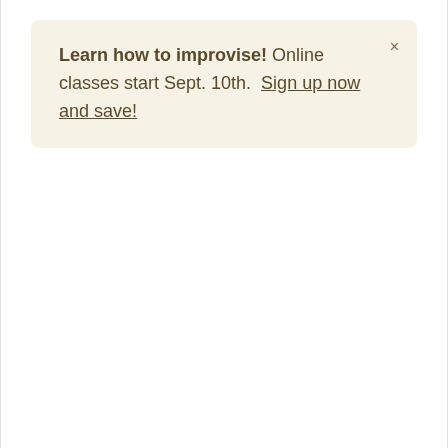Learn how to improvise! Online classes start Sept. 10th. Sign up now and save!